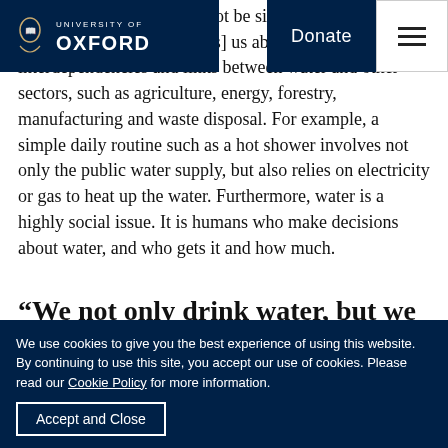University of Oxford | Donate
yet at the same time it cannot be singled out as it is environmental story. [it tells] us about the interdependencies and links between water and other sectors, such as agriculture, energy, forestry, manufacturing and waste disposal. For example, a simple daily routine such as a hot shower involves not only the public water supply, but also relies on electricity or gas to heat up the water. Furthermore, water is a highly social issue. It is humans who make decisions about water, and who gets it and how much.
“We not only drink water, but we swim
We use cookies to give you the best experience of using this website. By continuing to use this site, you accept our use of cookies. Please read our Cookie Policy for more information.
Accept and Close